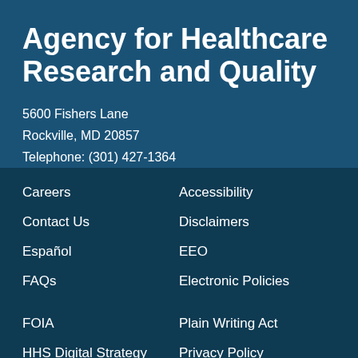Agency for Healthcare Research and Quality
5600 Fishers Lane
Rockville, MD 20857
Telephone: (301) 427-1364
Careers
Contact Us
Español
FAQs
Accessibility
Disclaimers
EEO
Electronic Policies
FOIA
HHS Digital Strategy
HHS Nondiscrimination Notice
Inspector General
Plain Writing Act
Privacy Policy
Viewers & Players